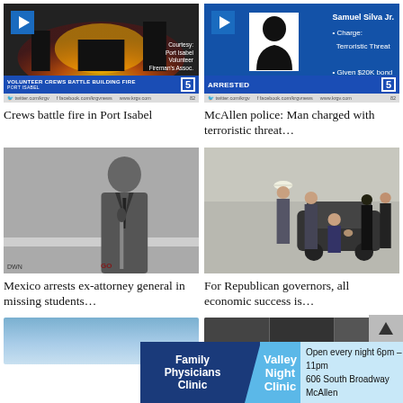[Figure (screenshot): News broadcast thumbnail showing building fire at night with flames, lower bar reads 'VOLUNTEER CREWS BATTLE BUILDING FIRE PORT ISABEL', courtesy Port Isabel Volunteer Fireman's Assoc.]
Crews battle fire in Port Isabel
[Figure (screenshot): News broadcast showing arrested suspect info: Samuel Silva Jr., Charge: Terroristic Threat, Given $20K bond, with silhouette placeholder photo, 'ARRESTED' bar at bottom]
McAllen police: Man charged with terroristic threat...
[Figure (photo): Man speaking at podium with microphone in front of Mexico PGR (Attorney General) backdrop banner. 'MÉXICO PGR' text visible.]
Mexico arrests ex-attorney general in missing students...
[Figure (photo): Group of people near a vehicle outdoors, man in white cowboy hat, appears to be Republican governors event]
For Republican governors, all economic success is...
[Figure (photo): Partial view of sky/landscape, bottom of page, cropped]
[Figure (photo): Partial collage of images, bottom right, cropped]
Family Physicians Clinic   Valley Night Clinic   Open every night 6pm - 11pm   606 South Broadway McAllen